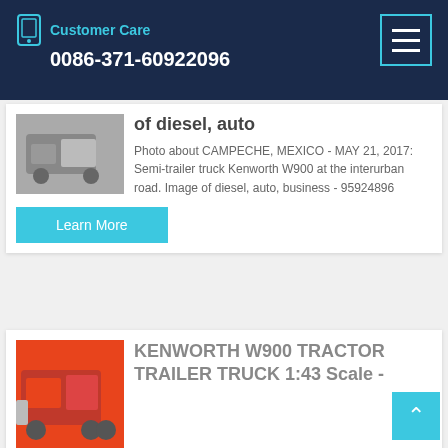Customer Care 0086-371-60922096
of diesel, auto
Photo about CAMPECHE, MEXICO - MAY 21, 2017: Semi-trailer truck Kenworth W900 at the interurban road. Image of diesel, auto, business - 95924896
[Figure (photo): Partial photo of a semi-trailer truck]
Learn More
[Figure (photo): Red dump truck or tractor trailer]
KENWORTH W900 TRACTOR TRAILER TRUCK 1:43 Scale -